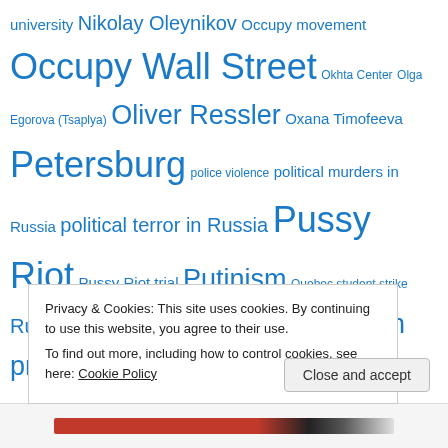university Nikolay Oleynikov Occupy movement Occupy Wall Street Okhta Center Olga Egorova (Tsaplya) Oliver Ressler Oxana Timofeeva Petersburg police violence political murders in Russia political terror in Russia Pussy Riot Pussy Riot trial Putinism Quebec student strike Russia Russian antifa Russian election protests Russian neo-Nazis Russian Orthodox Church Russian police state Russian Socialist Movement Saint Petersburg Sergei Udaltsov Sergey Chernov Stanislav Markelov The Other Russia UK
Privacy & Cookies: This site uses cookies. By continuing to use this website, you agree to their use.
To find out more, including how to control cookies, see here: Cookie Policy
Close and accept